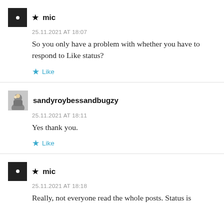★ mic
25.11.2021 AT 18:07
So you only have a problem with whether you have to respond to Like status?
★ Like
sandyroybessandbugzy
25.11.2021 AT 18:11
Yes thank you.
★ Like
★ mic
25.11.2021 AT 18:18
Really, not everyone read the whole posts. Status is